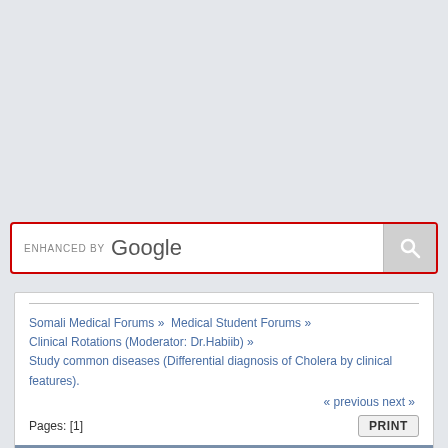[Figure (screenshot): Google search bar with 'ENHANCED BY Google' label and red border, with gray search button containing magnifying glass icon]
Somali Medical Forums » Medical Student Forums » Clinical Rotations (Moderator: Dr.Habiib) » Study common diseases (Differential diagnosis of Cholera by clinical features).
« previous next »
Pages: [1]
PRINT
| Author | Topic: Study common |
| --- | --- |